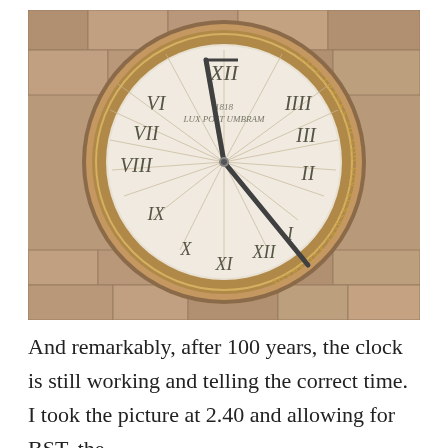[Figure (photo): A circular sundial mounted on a stone wall. The sundial face is white/pale stone with Roman numerals (VI, VII, VIII, IX, X, XI, XII, I, II, III) and radiating hour lines. The gnomon (shadow caster) casts a shadow indicating approximately 2:40. An inscription around the outer bronze ring reads 'GIVE THANKS TO GOD' and the face reads 'LUX POST UMBRAM' with a date of 1818. The surrounding wall is made of old stone blocks with lichen.]
And remarkably, after 100 years, the clock is still working and telling the correct time. I took the picture at 2.40 and allowing for BST, the